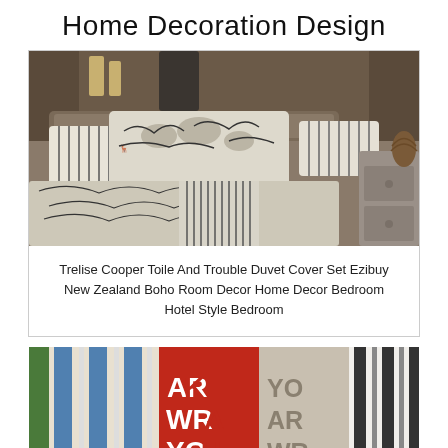Home Decoration Design
[Figure (photo): Bedroom with decorative pillows and duvet cover in black and white toile and stripe patterns, with a wooden nightstand visible on the right.]
Trelise Cooper Toile And Trouble Duvet Cover Set Ezibuy New Zealand Boho Room Decor Home Decor Bedroom Hotel Style Bedroom
[Figure (photo): Colorful striped and text-printed blankets/throws hanging side by side — blue striped, red with 'ARE WRAPPED YOU' text, beige/grey with similar text, and black/white striped.]